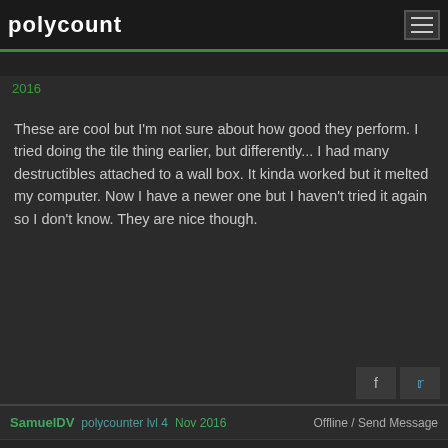polycount
2016
These are cool but I'm not sure about how good they perform. I tried doing the tile thing earlier, but differently... I had many destructibles attached to a wall box. It kinda worked but it melted my computer. Now I have a newer one but I haven't tried it again so I don't know. They are nice though.
SamuelDV  polycounter lvl 4  Nov 2016    Offline / Send Message
Obscura said:
These are cool but I'm not sure about how good they perform. I tried doing the tile thing earlier, but differently... I had many destructibles attached to a